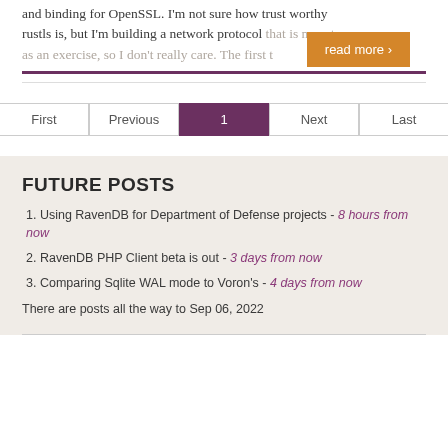and binding for OpenSSL. I'm not sure how trust worthy rustls is, but I'm building a network protocol that is meant as an exercise, so I don't really care. The first t
read more ›
First  Previous  1  Next  Last
FUTURE POSTS
1. Using RavenDB for Department of Defense projects - 8 hours from now
2. RavenDB PHP Client beta is out - 3 days from now
3. Comparing Sqlite WAL mode to Voron's - 4 days from now
There are posts all the way to Sep 06, 2022